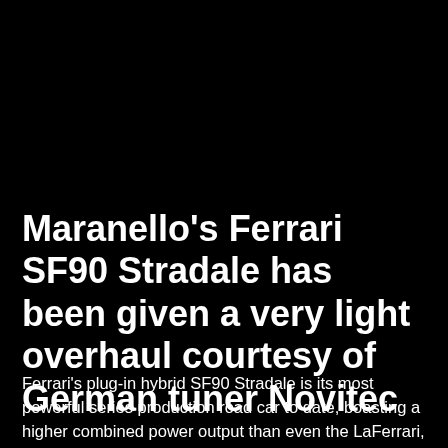Maranello's Ferrari SF90 Stradale has been given a very light overhaul courtesy of German tuner Novitec
Ferrari's plug-in hybrid SF90 Stradale is its most powerful series production road car to date, boasting a higher combined power output than even the LaFerrari, but as is